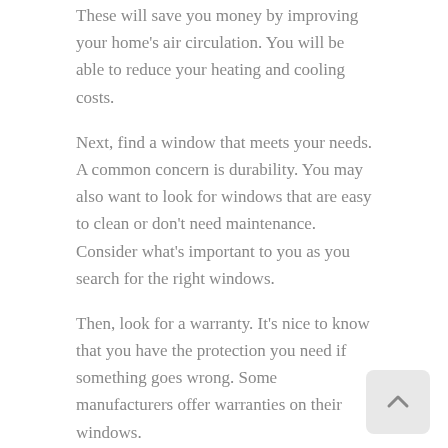These will save you money by improving your home's air circulation. You will be able to reduce your heating and cooling costs.
Next, find a window that meets your needs. A common concern is durability. You may also want to look for windows that are easy to clean or don't need maintenance. Consider what's important to you as you search for the right windows.
Then, look for a warranty. It's nice to know that you have the protection you need if something goes wrong. Some manufacturers offer warranties on their windows.